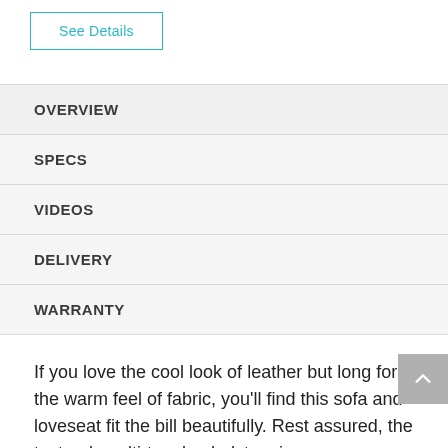See Details
OVERVIEW
SPECS
VIDEOS
DELIVERY
WARRANTY
If you love the cool look of leather but long for the warm feel of fabric, you'll find this sofa and loveseat fit the bill beautifully. Rest assured, the textural, multi-tonal upholstery is